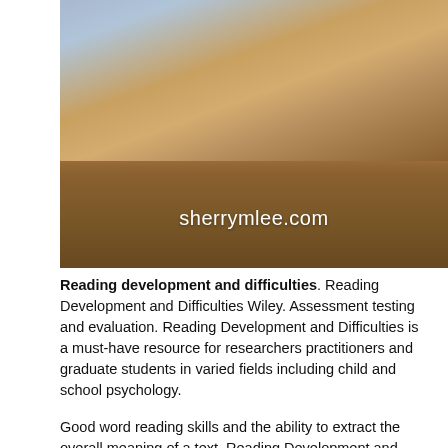[Figure (photo): Photo of a person reading outdoors, sitting on what appears to be grass or hay in warm/golden tones, with a watermark reading 'sherrymlee.com' overlaid at the bottom center.]
Reading development and difficulties. Reading Development and Difficulties Wiley. Assessment testing and evaluation. Reading Development and Difficulties is a must-have resource for researchers practitioners and graduate students in varied fields including child and school psychology.
Good word reading skills and the ability to extract the overall meaning of a text. Reading Development and Difficulties is a must-have resource for researchers practitioners and graduate students in varied